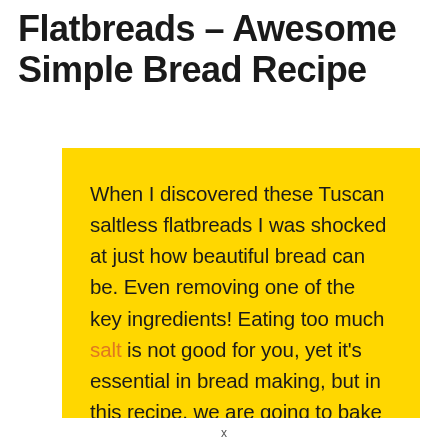Flatbreads – Awesome Simple Bread Recipe
When I discovered these Tuscan saltless flatbreads I was shocked at just how beautiful bread can be. Even removing one of the key ingredients! Eating too much salt is not good for you, yet it's essential in bread making, but in this recipe, we are going to bake